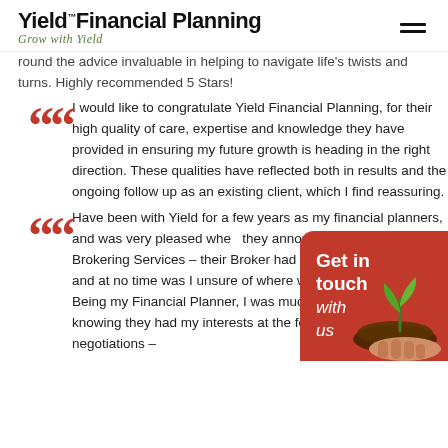Yield Financial Planning – Grow with Yield
round the advice invaluable in helping to navigate life's twists and turns. Highly recommended 5 Stars!
I would like to congratulate Yield Financial Planning, for their high quality of care, expertise and knowledge they have provided in ensuring my future growth is heading in the right direction. These qualities have reflected both in results and the ongoing follow up as an existing client, which I find reassuring.
Have been with Yield for a few years as my financial planners, and was very pleased when they announced their Mortgage Brokering Services – their Broker had great communication and at no time was I unsure of where we were in the process. Being my Financial Planner, I was much more comfortable knowing they had my interests at the forefront of all negotiations –
[Figure (illustration): Get in touch with us CTA badge with plant/seedling image on red background, bottom right corner]